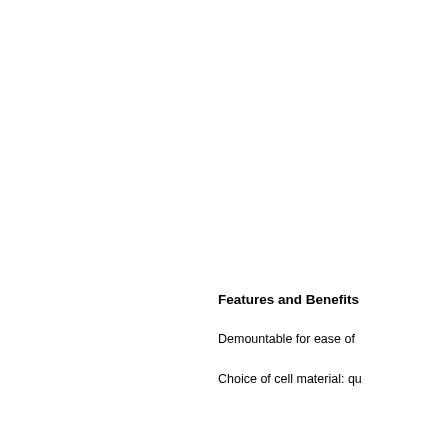Features and Benefits
Demountable for ease of
Choice of cell material: qu